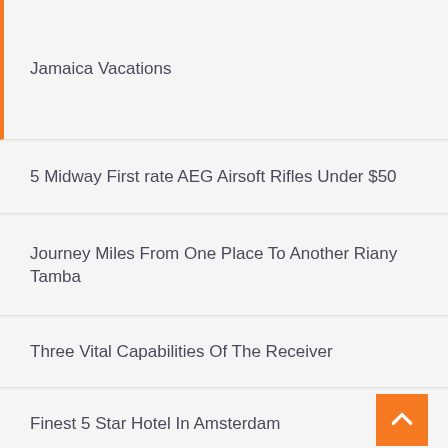Jamaica Vacations
5 Midway First rate AEG Airsoft Rifles Under $50
Journey Miles From One Place To Another Riany Tamba
Three Vital Capabilities Of The Receiver
Finest 5 Star Hotel In Amsterdam
Archives